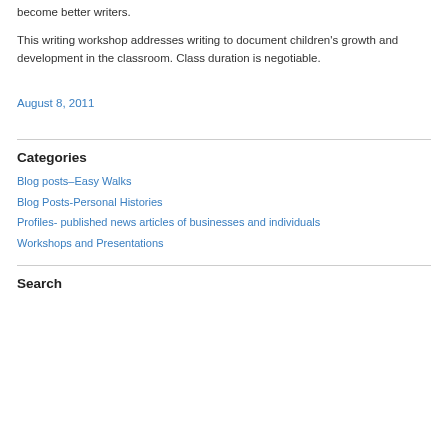become better writers.
This writing workshop addresses writing to document children’s growth and development in the classroom. Class duration is negotiable.
August 8, 2011
Categories
Blog posts–Easy Walks
Blog Posts-Personal Histories
Profiles- published news articles of businesses and individuals
Workshops and Presentations
Search